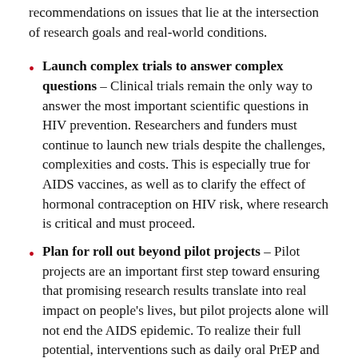recommendations on issues that lie at the intersection of research goals and real-world conditions.
Launch complex trials to answer complex questions – Clinical trials remain the only way to answer the most important scientific questions in HIV prevention. Researchers and funders must continue to launch new trials despite the challenges, complexities and costs. This is especially true for AIDS vaccines, as well as to clarify the effect of hormonal contraception on HIV risk, where research is critical and must proceed.
Plan for roll out beyond pilot projects – Pilot projects are an important first step toward ensuring that promising research results translate into real impact on people's lives, but pilot projects alone will not end the AIDS epidemic. To realize their full potential, interventions such as daily oral PrEP and non-surgical devices for voluntary medical male circumcision need